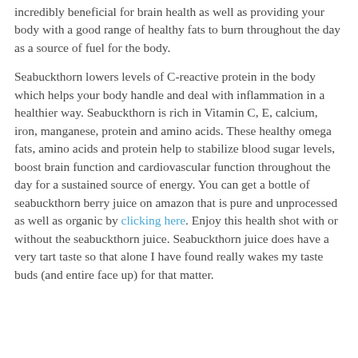incredibly beneficial for brain health as well as providing your body with a good range of healthy fats to burn throughout the day as a source of fuel for the body.
Seabuckthorn lowers levels of C-reactive protein in the body which helps your body handle and deal with inflammation in a healthier way. Seabuckthorn is rich in Vitamin C, E, calcium, iron, manganese, protein and amino acids. These healthy omega fats, amino acids and protein help to stabilize blood sugar levels, boost brain function and cardiovascular function throughout the day for a sustained source of energy. You can get a bottle of seabuckthorn berry juice on amazon that is pure and unprocessed as well as organic by clicking here. Enjoy this health shot with or without the seabuckthorn juice. Seabuckthorn juice does have a very tart taste so that alone I have found really wakes my taste buds (and entire face up) for that matter.